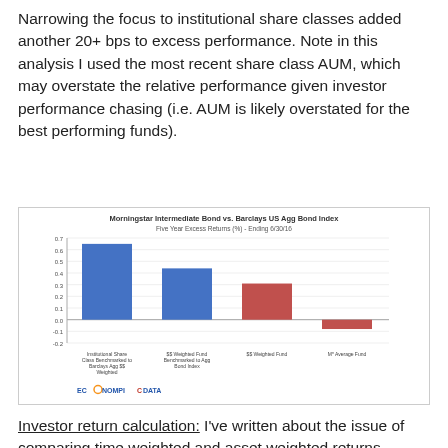Narrowing the focus to institutional share classes added another 20+ bps to excess performance. Note in this analysis I used the most recent share class AUM, which may overstate the relative performance given investor performance chasing (i.e. AUM is likely overstated for the best performing funds).
[Figure (bar-chart): Morningstar Intermediate Bond vs. Barclays US Agg Bond Index
Five Year Excess Returns (%) - Ending 6/30/16]
Investor return calculation: I've written about the issue of comparing time weighted and asset weighted returns previously. There is an additional issue, similar to the one within the total return calculation outlined above, which